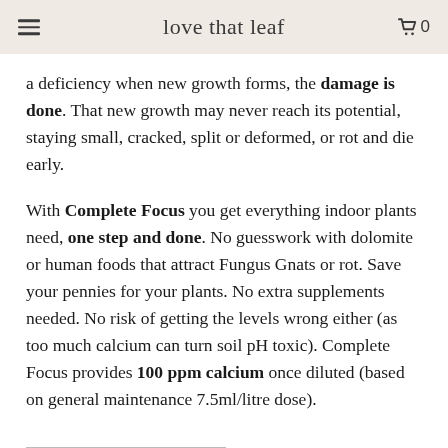love that leaf
a deficiency when new growth forms, the damage is done. That new growth may never reach its potential, staying small, cracked, split or deformed, or rot and die early.
With Complete Focus you get everything indoor plants need, one step and done. No guesswork with dolomite or human foods that attract Fungus Gnats or rot. Save your pennies for your plants. No extra supplements needed. No risk of getting the levels wrong either (as too much calcium can turn soil pH toxic). Complete Focus provides 100 ppm calcium once diluted (based on general maintenance 7.5ml/litre dose).